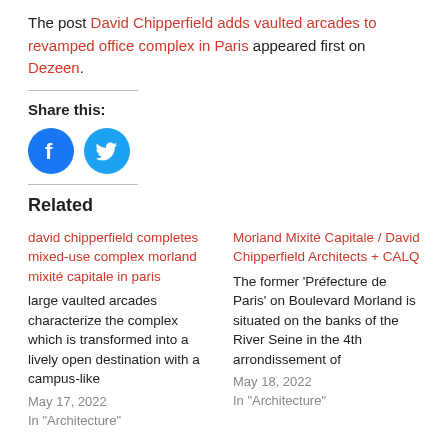The post David Chipperfield adds vaulted arcades to revamped office complex in Paris appeared first on Dezeen.
Share this:
[Figure (other): Facebook and Twitter share buttons (blue circular icons)]
Related
david chipperfield completes mixed-use complex morland mixité capitale in paris
large vaulted arcades characterize the complex which is transformed into a lively open destination with a campus-like
May 17, 2022
In "Architecture"
Morland Mixité Capitale / David Chipperfield Architects + CALQ
The former 'Préfecture de Paris' on Boulevard Morland is situated on the banks of the River Seine in the 4th arrondissement of
May 18, 2022
In "Architecture"